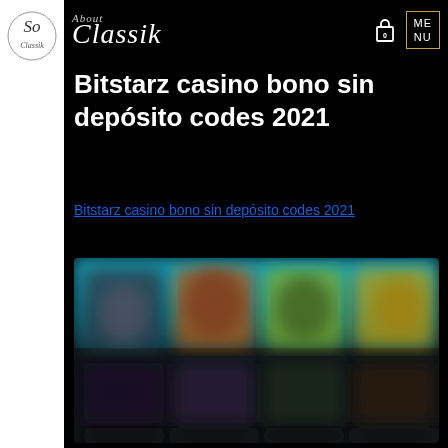So: Classik — About — MENU
Bitstarz casino bono sin depósito codes 2021
Bitstarz casino bono sin depósito codes 2021
[Figure (photo): Blurred screenshot of Bitstarz casino game lobby showing colorful animated game tiles and characters]